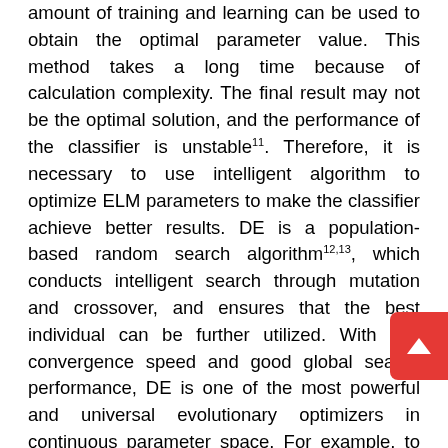amount of training and learning can be used to obtain the optimal parameter value. This method takes a long time because of calculation complexity. The final result may not be the optimal solution, and the performance of the classifier is unstable11. Therefore, it is necessary to use intelligent algorithm to optimize ELM parameters to make the classifier achieve better results. DE is a population-based random search algorithm12,13, which conducts intelligent search through mutation and crossover, and ensures that the best individual can be further utilized. With fast convergence speed and good global search performance, DE is one of the most powerful and universal evolutionary optimizers in continuous parameter space. For example, to reduce the prediction time of ELM and avoid falling into local optimality, Yang et al. proposed a differential evolution coral reef optimization algorithm with hybrid DE and metaheuristic coral reef optimization to balance exploration and development capabilities to achieve better performance14. Dahou et al. combined DE and convolutional neural networks (CNN) to solve the problem of Arabic sentiment classification, and used DE algorithm to optimize CNN parameters.